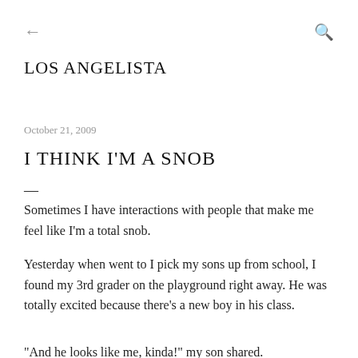LOS ANGELISTA
October 21, 2009
I THINK I'M A SNOB
Sometimes I have interactions with people that make me feel like I'm a total snob.
Yesterday when went to I pick my sons up from school, I found my 3rd grader on the playground right away. He was totally excited because there's a new boy in his class.
"And he looks like me, kinda!" my son shared.